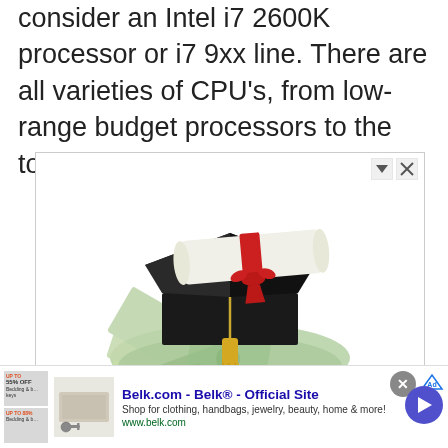consider an Intel i7 2600K processor or i7 9xx line. There are all varieties of CPU's, from low-range budget processors to the top of the line.
[Figure (photo): Advertisement showing a graduation cap with diploma and money (100 dollar bills fanned out underneath), representing a Computer Networking Degree advertisement. Ad controls (arrow and X) visible in top right. Caption reads 'Computer Networking Degree'.]
[Figure (photo): Bottom banner advertisement for Belk.com - Belk® - Official Site. Shows small product image, text 'Shop for clothing, handbags, jewelry, beauty, home & more!' and URL www.belk.com. Has close button and arrow button on right.]